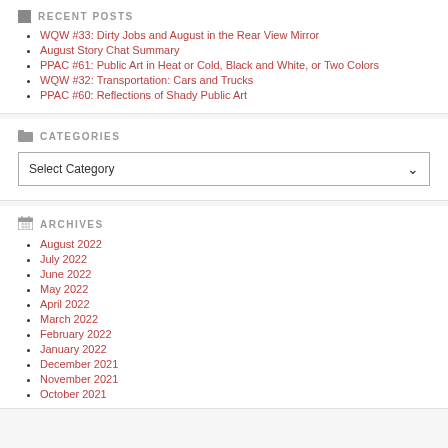RECENT POSTS
WQW #33: Dirty Jobs and August in the Rear View Mirror
August Story Chat Summary
PPAC #61: Public Art in Heat or Cold, Black and White, or Two Colors
WQW #32: Transportation: Cars and Trucks
PPAC #60: Reflections of Shady Public Art
CATEGORIES
Select Category
ARCHIVES
August 2022
July 2022
June 2022
May 2022
April 2022
March 2022
February 2022
January 2022
December 2021
November 2021
October 2021